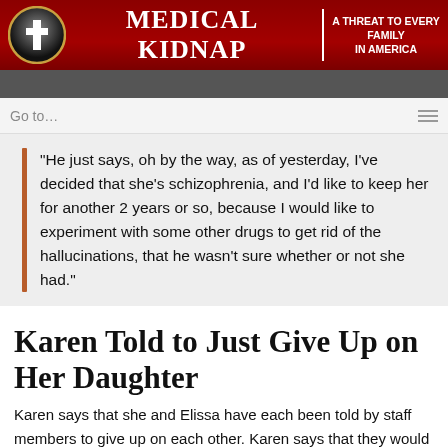MEDICAL KIDNAP | A THREAT TO EVERY FAMILY IN AMERICA
“He just says, oh by the way, as of yesterday, I’ve decided that she’s schizophrenia, and I’d like to keep her for another 2 years or so, because I would like to experiment with some other drugs to get rid of the hallucinations, that he wasn’t sure whether or not she had.”
Karen Told to Just Give Up on Her Daughter
Karen says that she and Elissa have each been told by staff members to give up on each other. Karen says that they would love to have her out of the picture. They reportedly told her,